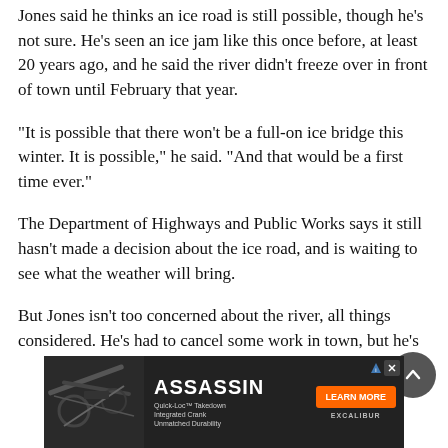Jones said he thinks an ice road is still possible, though he's not sure. He's seen an ice jam like this once before, at least 20 years ago, and he said the river didn't freeze over in front of town until February that year.
“It is possible that there won’t be a full-on ice bridge this winter. It is possible,” he said. “And that would be a first time ever.”
The Department of Highways and Public Works says it still hasn’t made a decision about the ice road, and is waiting to see what the weather will bring.
But Jones isn’t too concerned about the river, all things considered. He’s had to cancel some work in town, but he’s
[Figure (infographic): Advertisement banner for Assassin brand (Quick-Loc Takedown Integrated Crank Unmatched Durability) with orange LEARN MORE button and Excalibur logo]